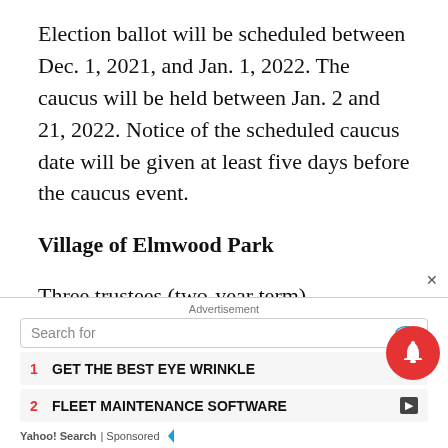Election ballot will be scheduled between Dec. 1, 2021, and Jan. 1, 2022. The caucus will be held between Jan. 2 and 21, 2022. Notice of the scheduled caucus date will be given at least five days before the caucus event.
Village of Elmwood Park
Three trustees (two-year term).
The Village will schedule a caucus in January to
[Figure (screenshot): Advertisement overlay: Search bar with eye icon, two sponsored search results (1. GET THE BEST EYE WRINKLE, 2. FLEET MAINTENANCE SOFTWARE), Yahoo! Search | Sponsored footer with notification bell icon.]